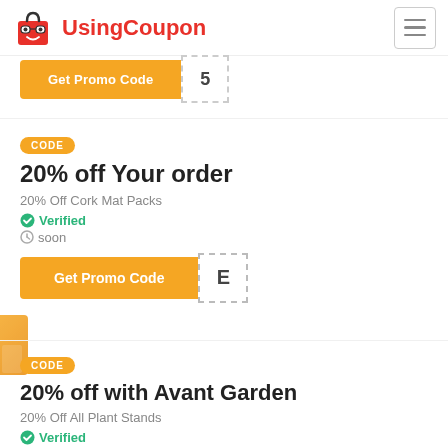UsingCoupon
[Figure (screenshot): Get Promo Code button with code box showing '5', partially visible at top]
CODE
20% off Your order
20% Off Cork Mat Packs
Verified
soon
[Figure (screenshot): Get Promo Code button with code box showing 'E']
CODE
20% off with Avant Garden
20% Off All Plant Stands
Verified